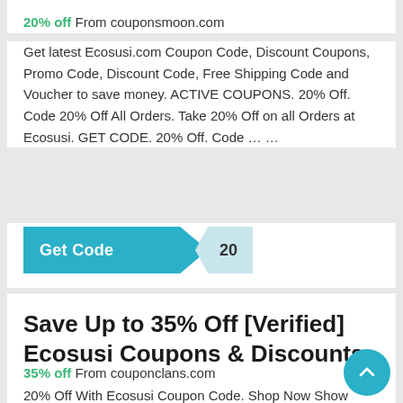20% off From couponsmoon.com
Get latest Ecosusi.com Coupon Code, Discount Coupons, Promo Code, Discount Code, Free Shipping Code and Voucher to save money. ACTIVE COUPONS. 20% Off. Code 20% Off All Orders. Take 20% Off on all Orders at Ecosusi. GET CODE. 20% Off. Code … …
[Figure (other): Get Code button with code reveal showing '20']
Save Up to 35% Off [Verified] Ecosusi Coupons & Discounts ...
35% off From couponclans.com
20% Off With Ecosusi Coupon Code. Shop Now Show Code 0. Coupon. 20% Off With Ecosusi Promo Code. Shop Now Show Code 0. Coupon.